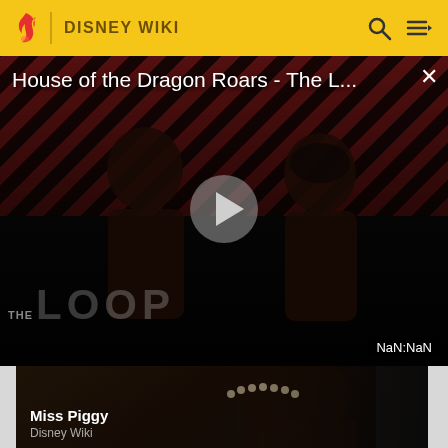DISNEY WIKI
[Figure (screenshot): Video player showing 'House of the Dragon Roars - The L...' with diagonal red/dark stripe background, two shadowy figures, play button in center, THE LOOP text, and NaN:NaN duration badge]
House of the Dragon Roars - The L...
[Figure (photo): Dark thumbnail image showing a figure wearing a pearl necklace, with Miss Piggy label and Disney Wiki subtitle below]
Miss Piggy
Disney Wiki